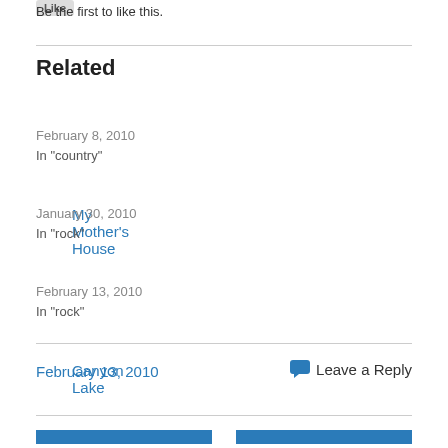Be the first to like this.
Related
My Mother's House
February 8, 2010
In "country"
Canyon Lake
January 30, 2010
In "rock"
Picasso
February 13, 2010
In "rock"
February 13, 2010    Leave a Reply